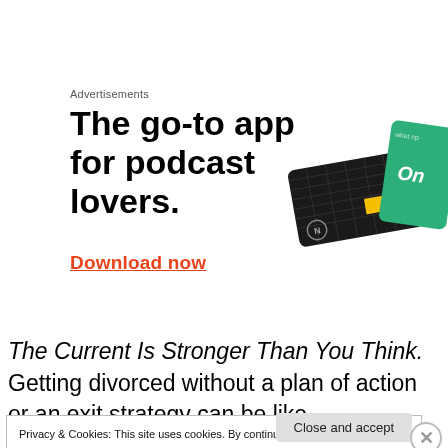Advertisements
[Figure (illustration): App advertisement: large bold text reads 'The go-to app for podcast lovers.' with red underlined 'Download now' link, and an image of a black grid card with yellow square and a teal/green card partially visible on the right.]
The Current Is Stronger Than You Think. Getting divorced without a plan of action or an exit strategy can be like
Privacy & Cookies: This site uses cookies. By continuing to use this website, you agree to their use.
To find out more, including how to control cookies, see here: Cookie Policy
Close and accept